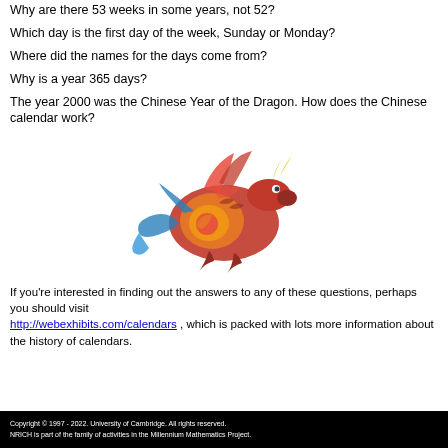Why are there 53 weeks in some years, not 52?
Which day is the first day of the week, Sunday or Monday?
Where did the names for the days come from?
Why is a year 365 days?
The year 2000 was the Chinese Year of the Dragon. How does the Chinese calendar work?
[Figure (illustration): Colorful Chinese dragon illustration]
If you're interested in finding out the answers to any of these questions, perhaps you should visit http://webexhibits.com/calendars , which is packed with lots more information about the history of calendars.
Copyright © 1997 - 2022. University of Cambridge. All rights reserved.
NRICH is part of the family of activities in the Millennium Mathematics Project.